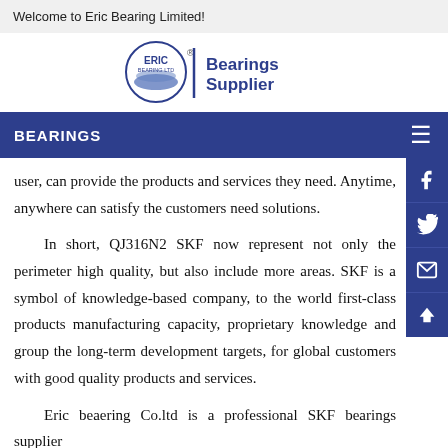Welcome to Eric Bearing Limited!
[Figure (logo): Eric Bearing Ltd logo with circular emblem and 'Bearings Supplier' text]
BEARINGS
user, can provide the products and services they need. Anytime, anywhere can satisfy the customers need solutions.
In short, QJ316N2 SKF now represent not only the perimeter high quality, but also include more areas. SKF is a symbol of knowledge-based company, to the world first-class products manufacturing capacity, proprietary knowledge and group the long-term development targets, for global customers with good quality products and services.
Eric beaering Co.ltd is a professional SKF bearings supplier